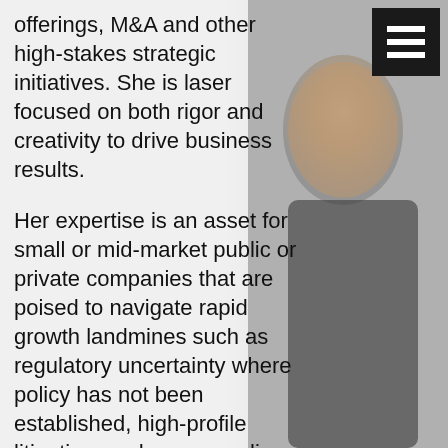offerings, M&A and other high-stakes strategic initiatives. She is laser focused on both rigor and creativity to drive business results.
Her expertise is an asset for small or mid-market public or private companies that are poised to navigate rapid growth landmines such as regulatory uncertainty where policy has not been established, high-profile litigation, and new compliance and risk management requirements. Her foresight facilitates internal growth activities such as accelerating revenue, market expansion, initial public offering
[Figure (photo): Portrait photo of a smiling professional woman, partially visible on the right side of the page, with a menu/hamburger icon overlay in the top right corner]